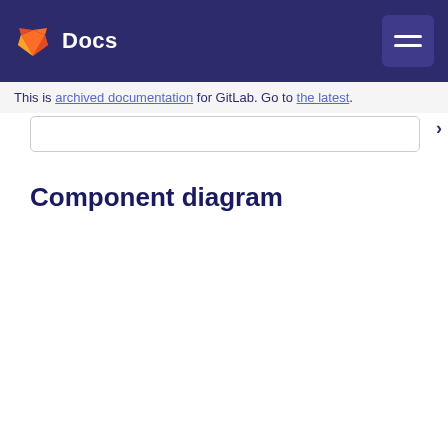Docs
This is archived documentation for GitLab. Go to the latest.
Component diagram